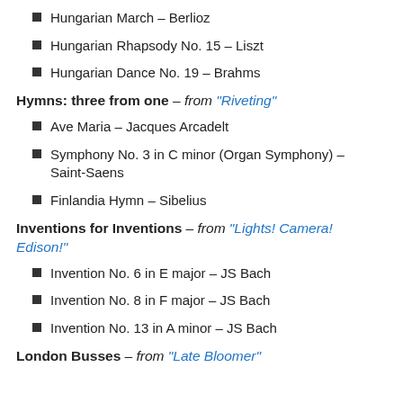Hungarian March – Berlioz
Hungarian Rhapsody No. 15 – Liszt
Hungarian Dance No. 19 – Brahms
Hymns: three from one – from "Riveting"
Ave Maria – Jacques Arcadelt
Symphony No. 3 in C minor (Organ Symphony) – Saint-Saens
Finlandia Hymn – Sibelius
Inventions for Inventions – from "Lights! Camera! Edison!"
Invention No. 6 in E major – JS Bach
Invention No. 8 in F major – JS Bach
Invention No. 13 in A minor – JS Bach
London Busses – from "Late Bloomer"